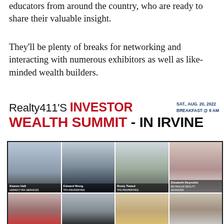educators from around the country, who are ready to share their valuable insight.
They'll be plenty of breaks for networking and interacting with numerous exhibitors as well as like-minded wealth builders.
[Figure (infographic): Realty411's Investor Wealth Summit - In Irvine event banner. Date: SAT., AUG. 20, 2022, BREAKFAST @ 9 AM. Features headshot photos of 8 speakers: Kaaren Hall (UDIRECT IRA SERVICES), Edward Wong (TFS PROPERTIES), Rusty Tweed (TFS PROPERTIES), Elizabeth Reynolds (REYNOLDS REALTY ADVISORS), and 4 more in bottom row (partially visible).]